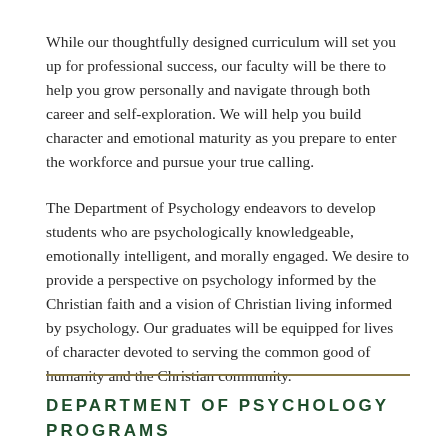While our thoughtfully designed curriculum will set you up for professional success, our faculty will be there to help you grow personally and navigate through both career and self-exploration. We will help you build character and emotional maturity as you prepare to enter the workforce and pursue your true calling.
The Department of Psychology endeavors to develop students who are psychologically knowledgeable, emotionally intelligent, and morally engaged. We desire to provide a perspective on psychology informed by the Christian faith and a vision of Christian living informed by psychology. Our graduates will be equipped for lives of character devoted to serving the common good of humanity and the Christian community.
DEPARTMENT OF PSYCHOLOGY PROGRAMS